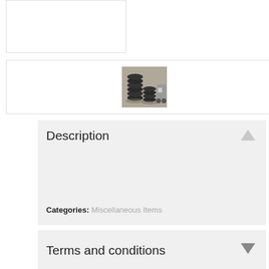[Figure (other): Empty white image box at top left]
[Figure (photo): Small thumbnail photo showing stacked tires on the ground]
Description
Categories: Miscellaneous Items
Terms and conditions